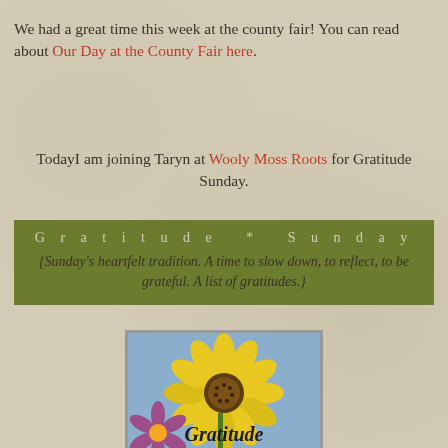We had a great time this week at the county fair! You can read about Our Day at the County Fair here.
TodayI am joining Taryn at Wooly Moss Roots for Gratitude Sunday.
Gratitude * Sunday
{Sunday's heartfelt tradition. A time to slow down, to reflect, to be grateful. A list of gratitudes.}
[Figure (illustration): Gratitude Sunday badge image showing yellow sunflowers with text 'Gratitude Sunday' overlaid in black script and bold fonts, with a Photobucket watermark.]